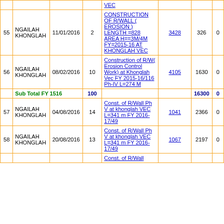| # | Location | Date | No. | Description | Ref | Amount | Status |
| --- | --- | --- | --- | --- | --- | --- | --- |
|  |  |  |  | VEC |  |  |  |
| 55 | NGAILAH KHONGLAH | 11/01/2016 | 2 | CONSTRUCTION OF R/WALL ( EROSION ) LENGTH =828 AREA H==3M/4M FY=2015-16 AT KHONGLAH VEC | 3428 | 326 | 0 |
| 56 | NGAILAH KHONGLAH | 08/02/2016 | 10 | Construction of R/W( Erosion Control Work) at Khonglah Vec FY 2015-16/116 Ph-IV L=274 M | 4105 | 1630 | 0 |
|  | Sub Total FY 1516 |  | 100 |  |  | 16300 | 0 |
| 57 | NGAILAH KHONGLAH | 04/08/2016 | 14 | Const. of R/Wall Ph V at khonglah VEC L=341 m FY 2016-17/49 | 1041 | 2366 | 0 |
| 58 | NGAILAH KHONGLAH | 20/08/2016 | 13 | Const. of R/Wall Ph V at khonglah VEC L=341 m FY 2016-17/49 | 1067 | 2197 | 0 |
|  |  |  |  | Const. of R/Wall |  |  |  |